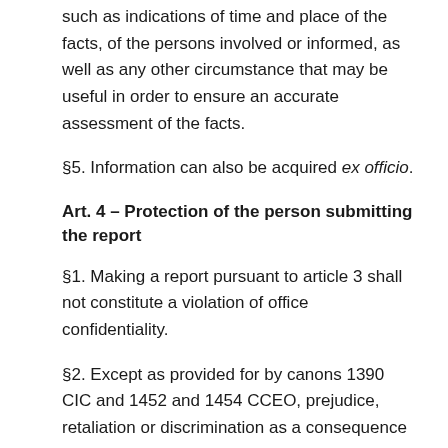such as indications of time and place of the facts, of the persons involved or informed, as well as any other circumstance that may be useful in order to ensure an accurate assessment of the facts.
§5. Information can also be acquired ex officio.
Art. 4 – Protection of the person submitting the report
§1. Making a report pursuant to article 3 shall not constitute a violation of office confidentiality.
§2. Except as provided for by canons 1390 CIC and 1452 and 1454 CCEO, prejudice, retaliation or discrimination as a consequence of having submitted a report is prohibited and may constitute the conduct referred to in article 1 §1, letter b).